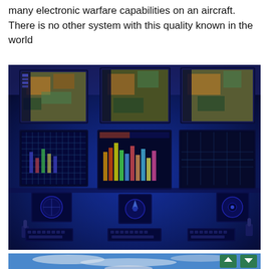many electronic warfare capabilities on an aircraft. There is no other system with this quality known in the world
[Figure (photo): Interior view of an electronic warfare aircraft cockpit/control station showing multiple monitors displaying radar and mapping software, illuminated in blue light, with keyboards and control panels visible.]
[Figure (photo): Partial view of a military aircraft flying against a blue sky with clouds, with green navigation up/down arrow buttons overlaid in the bottom right corner.]